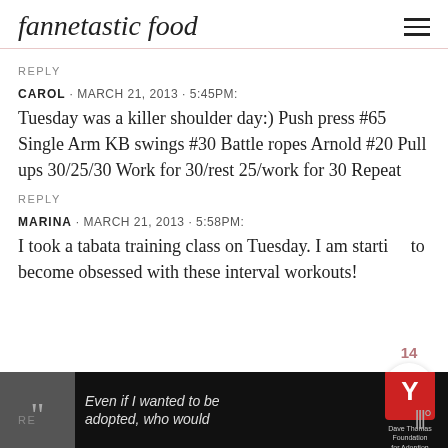fannetastic food
REPLY
CAROL · MARCH 21, 2013 · 5:45PM:
Tuesday was a killer shoulder day:) Push press #65 Single Arm KB swings #30 Battle ropes Arnold #20 Pull ups 30/25/30 Work for 30/rest 25/work for 30 Repeat
REPLY
MARINA · MARCH 21, 2013 · 5:58PM:
I took a tabata training class on Tuesday. I am starting to become obsessed with these interval workouts!
RE
[Figure (screenshot): Advertisement bar with woman photo, quote text 'Even if I wanted to be adopted, who would', Dave Thomas Foundation for Adoption logo, and close button]